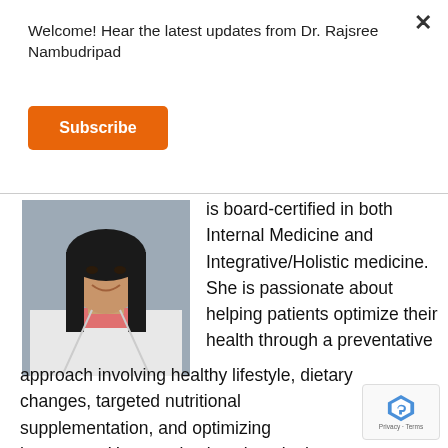Welcome! Hear the latest updates from Dr. Rajsree Nambudripad
Subscribe
[Figure (photo): Professional headshot of Dr. Rajsree Nambudripad in a white lab coat with a pink top, smiling, against a gray background]
is board-certified in both Internal Medicine and Integrative/Holistic medicine. She is passionate about helping patients optimize their health through a preventative approach involving healthy lifestyle, dietary changes, targeted nutritional supplementation, and optimizing hormones.  Her practice is unique in the personalized attention she devotes to each and every patient.